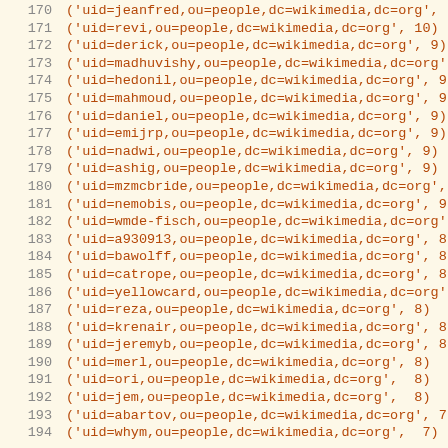170  ('uid=jeanfred,ou=people,dc=wikimedia,dc=org', 10)
171  ('uid=revi,ou=people,dc=wikimedia,dc=org', 10)
172  ('uid=derick,ou=people,dc=wikimedia,dc=org', 9)
173  ('uid=madhuvishy,ou=people,dc=wikimedia,dc=org', 9)
174  ('uid=hedonil,ou=people,dc=wikimedia,dc=org', 9)
175  ('uid=mahmoud,ou=people,dc=wikimedia,dc=org', 9)
176  ('uid=daniel,ou=people,dc=wikimedia,dc=org', 9)
177  ('uid=emijrp,ou=people,dc=wikimedia,dc=org', 9)
178  ('uid=nadwi,ou=people,dc=wikimedia,dc=org', 9)
179  ('uid=ashig,ou=people,dc=wikimedia,dc=org', 9)
180  ('uid=mzmcbride,ou=people,dc=wikimedia,dc=org', 9)
181  ('uid=nemobis,ou=people,dc=wikimedia,dc=org', 9)
182  ('uid=wmde-fisch,ou=people,dc=wikimedia,dc=org', 9)
183  ('uid=a930913,ou=people,dc=wikimedia,dc=org', 8)
184  ('uid=bawolff,ou=people,dc=wikimedia,dc=org', 8)
185  ('uid=catrope,ou=people,dc=wikimedia,dc=org', 8)
186  ('uid=yellowcard,ou=people,dc=wikimedia,dc=org', 8)
187  ('uid=reza,ou=people,dc=wikimedia,dc=org', 8)
188  ('uid=krenair,ou=people,dc=wikimedia,dc=org', 8)
189  ('uid=jeremyb,ou=people,dc=wikimedia,dc=org', 8)
190  ('uid=merl,ou=people,dc=wikimedia,dc=org', 8)
191  ('uid=ori,ou=people,dc=wikimedia,dc=org', 8)
192  ('uid=jem,ou=people,dc=wikimedia,dc=org', 8)
193  ('uid=abartov,ou=people,dc=wikimedia,dc=org', 7)
194  ('uid=whym,ou=people,dc=wikimedia,dc=org', 7)